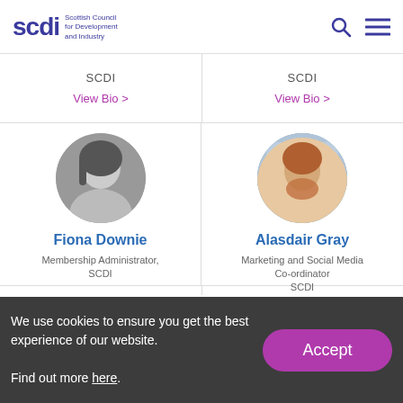SCDI — Scottish Council for Development and Industry
SCDI
View Bio >
SCDI
View Bio >
Fiona Downie
Membership Administrator, SCDI
Alasdair Gray
Marketing and Social Media Co-ordinator, SCDI
We use cookies to ensure you get the best experience of our website.
Find out more here.